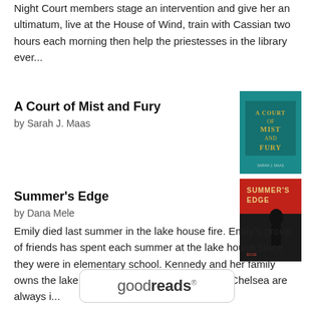Night Court members stage an intervention and give her an ultimatum, live at the House of Wind, train with Cassian two hours each morning then help the priestesses in the library ever...
A Court of Mist and Fury
by Sarah J. Maas
[Figure (illustration): Book cover of A Court of Mist and Fury — teal/dark background with gold title text]
Summer's Edge
by Dana Mele
[Figure (illustration): Book cover of Summer's Edge — red and dark background with silhouette figure and title text]
Emily died last summer in the lake house fire. Emily's group of friends has spent each summer at the lake house since they were in elementary school. Kennedy and her family owns the lake house. Emily, Ryan, Chase and Chelsea are always i...
[Figure (logo): Goodreads logo inside rounded rectangle border]